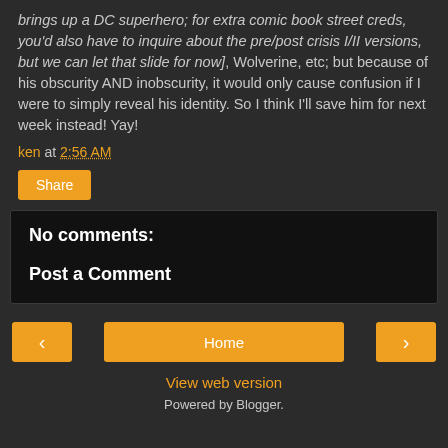brings up a DC superhero; for extra comic book street creds, you'd also have to inquire about the pre/post crisis I/II versions, but we can let that slide for now], Wolverine, etc; but because of his obscurity AND inobscurity, it would only cause confusion if I were to simply reveal his identity. So I think I'll save him for next week instead! Yay!
ken at 2:56 AM
Share
No comments:
Post a Comment
Home
View web version
Powered by Blogger.